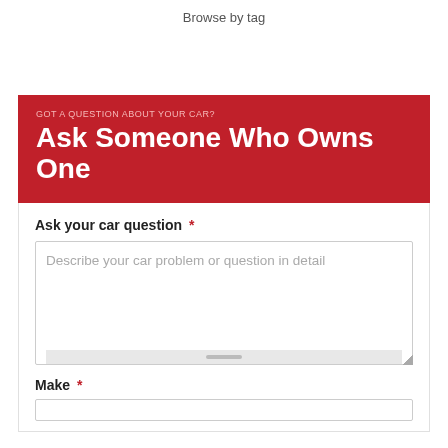Browse by tag
GOT A QUESTION ABOUT YOUR CAR?
Ask Someone Who Owns One
Ask your car question *
Describe your car problem or question in detail
Make *